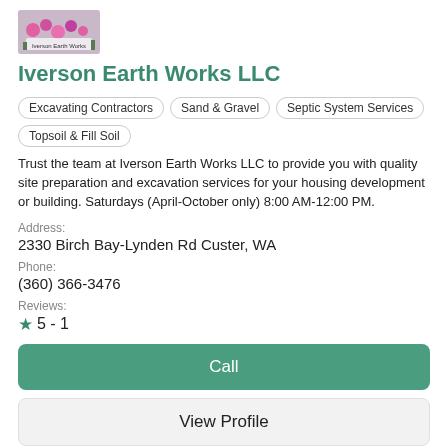[Figure (photo): Small thumbnail photo of flowers with a sign reading 'Iverson Earth Works']
Iverson Earth Works LLC
Excavating Contractors
Sand & Gravel
Septic System Services
Topsoil & Fill Soil
Trust the team at Iverson Earth Works LLC to provide you with quality site preparation and excavation services for your housing development or building. Saturdays (April-October only) 8:00 AM-12:00 PM.
Address:
2330 Birch Bay-Lynden Rd Custer, WA
Phone:
(360) 366-3476
Reviews:
★ 5 - 1
Call
View Profile